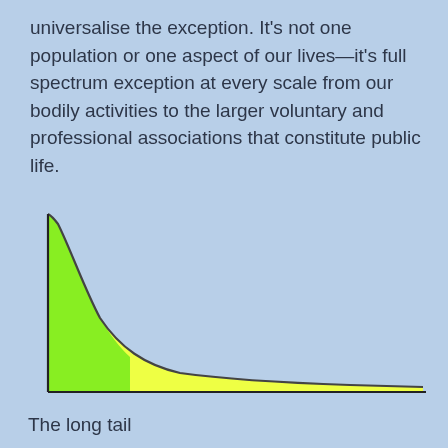universalise the exception. It's not one population or one aspect of our lives—it's full spectrum exception at every scale from our bodily activities to the larger voluntary and professional associations that constitute public life.
[Figure (continuous-plot): A long tail distribution curve. The y-axis rises steeply on the left side (head, shown in green/lime fill), then rapidly decays into a long flat tail extending to the right (tail, shown in yellow fill). The curve represents a power-law or Pareto-like distribution.]
The long tail